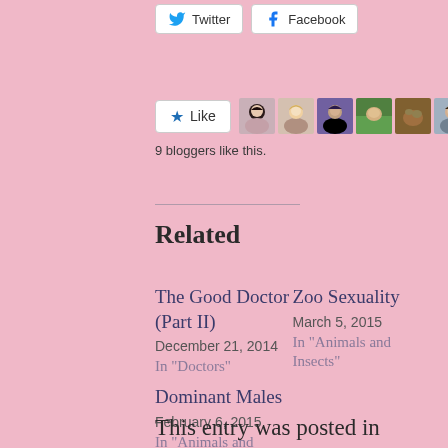[Figure (screenshot): Twitter and Facebook share buttons at the top]
[Figure (screenshot): Like button with star icon and 7 blogger avatar thumbnails]
9 bloggers like this.
Related
The Good Doctor (Part II)
December 21, 2014
In "Doctors"
Zoo Sexuality
March 5, 2015
In "Animals and Insects"
Dominant Males
February 6, 2015
In "Animals and Insects"
This entry was posted in